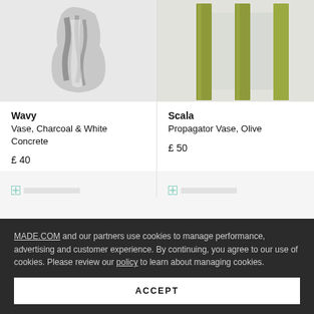[Figure (photo): Wavy vase in charcoal and white concrete on light grey background]
[Figure (photo): Scala propagator vase in olive color on light grey background]
Wavy
Vase, Charcoal & White Concrete
£ 40
Scala
Propagator Vase, Olive
£ 50
MADE.COM and our partners use cookies to manage performance, advertising and customer experience. By continuing, you agree to our use of cookies. Please review our policy to learn about managing cookies.
ACCEPT